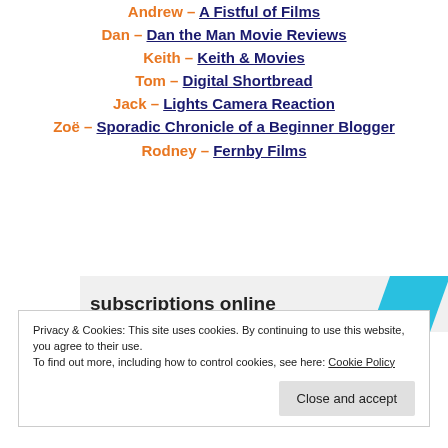Andrew – A Fistful of Films
Dan – Dan the Man Movie Reviews
Keith – Keith & Movies
Tom – Digital Shortbread
Jack – Lights Camera Reaction
Zoë – Sporadic Chronicle of a Beginner Blogger
Rodney – Fernby Films
[Figure (other): Advertisement banner showing 'subscriptions online' text with a blue parallelogram shape]
Privacy & Cookies: This site uses cookies. By continuing to use this website, you agree to their use. To find out more, including how to control cookies, see here: Cookie Policy
Close and accept